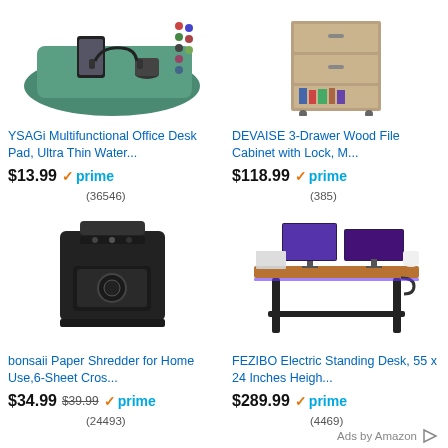[Figure (photo): YSAGi desk pad product photo showing a dark green multifunctional office desk mat with accessories]
YSAGi Multifunctional Office Desk Pad, Ultra Thin Water...
$13.99 prime
(36546)
[Figure (photo): DEVAISE 3-drawer wood file cabinet with lock product photo]
DEVAISE 3-Drawer Wood File Cabinet with Lock, M...
$118.99 prime
(385)
[Figure (photo): bonsaii paper shredder black product photo]
bonsaii Paper Shredder for Home Use,6-Sheet Cros...
$34.99 $39.99 prime
(24493)
[Figure (photo): FEZIBO electric standing desk with monitors product photo]
FEZIBO Electric Standing Desk, 55 x 24 Inches Heigh...
$289.99 prime
(4469)
Ads by Amazon